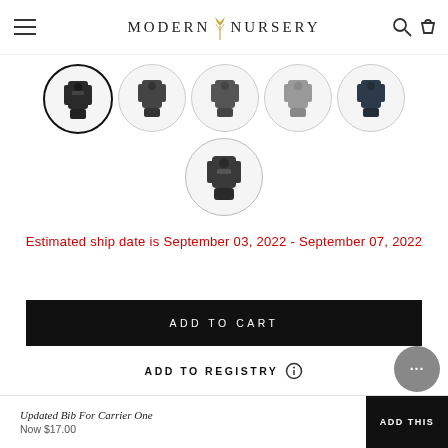MODERN NURSERY
[Figure (photo): Six circular thumbnail images of baby carriers in various colors (black, dark grey, medium grey, light grey, dark blue, and another dark grey), arranged in a row of five plus one below center.]
Estimated ship date is September 03, 2022 - September 07, 2022
ADD TO CART
ADD TO REGISTRY
Updated Bib For Carrier One
Now $17.00
ADD THIS